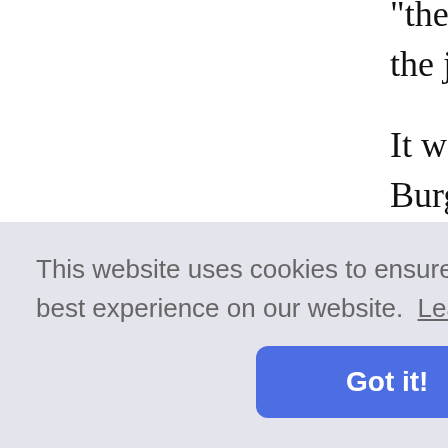"the soldier may not hear the same thi the jubilations had every appearance of
It was therefore not a tired and dishea Burgos early in November, but a body had done little in the interval to take ac the joy of victory had thrown the Spani been received almost daily from Napo adviser in Naples, had come in the sam position. But the French boys who experienced. The defensive attitude of and had secured the recuperation of the the newcomers, they might be conside
were now at Tafalla ch with a shut up in and cav four thousand was in the rear, and
This website uses cookies to ensure you get the best experience on our website. Learn more
Got it!